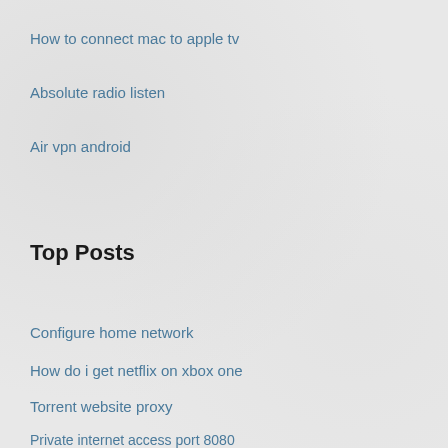How to connect mac to apple tv
Absolute radio listen
Air vpn android
Top Posts
Configure home network
How do i get netflix on xbox one
Torrent website proxy
Private internet access port 8080
Adblock on safari mac